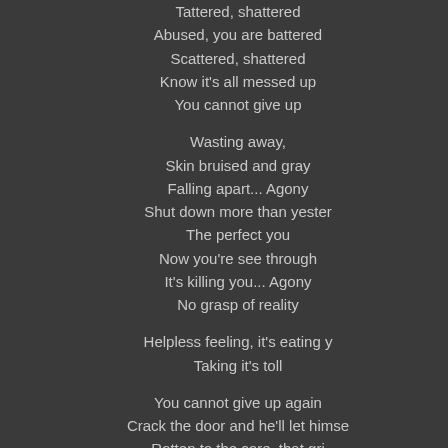Tattered, shattered
Abused, you are battered
Scattered, shattered
Know it's all messed up
You cannot give up

Wasting away,
Skin bruised and gray
Falling apart... Agony
Shut down more than yesterday
The perfect you
Now you're see through
It's killing you... Agony
No grasp of reality

Helpless feeling, it's eating you
Taking it's toll

You cannot give up again
Crack the door and he'll let himself in
Rotten to the core, that grin
Lose a little more, patience wearing thin

When nothing else matters
Tattered, shattered
Abused, you are battered
Scattered, shattered
Know it's all messed up
You cannot give up

You cannot give up again